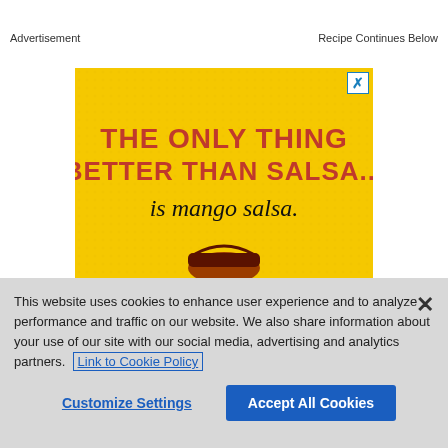Advertisement
Recipe Continues Below
[Figure (illustration): Yellow advertisement banner for mango salsa product. Red bold text reads 'THE ONLY THING BETTER THAN SALSA...' and italic text reads 'is mango salsa.' with a logo/mascot at bottom.]
This website uses cookies to enhance user experience and to analyze performance and traffic on our website. We also share information about your use of our site with our social media, advertising and analytics partners. Link to Cookie Policy
Customize Settings
Accept All Cookies